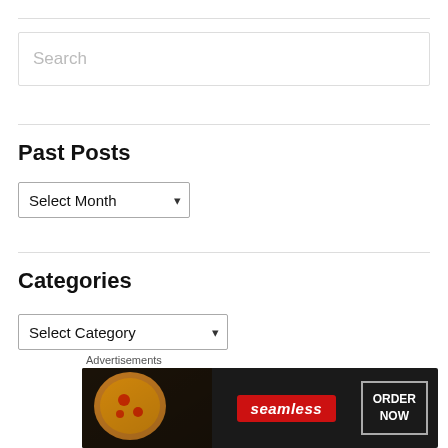Search
Past Posts
Select Month
Categories
Select Category
Most Popular Posts + Pages
Advertisements
[Figure (infographic): Seamless food ordering advertisement banner with pizza image, Seamless logo, and ORDER NOW button]